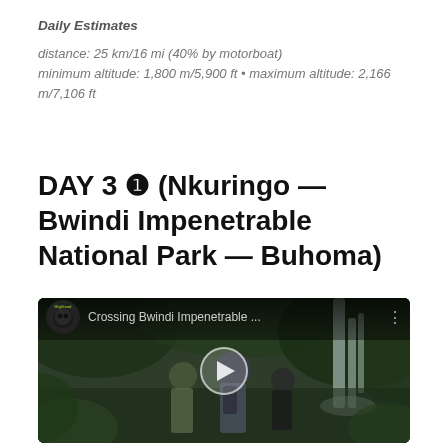Daily Estimates
distance: 25 km/16 mi (40% by motorboat)
minimum altitude: 1,800 m/5,900 ft • maximum altitude: 2,166 m/7,106 ft
DAY 3 ❶ (Nkuringo — Bwindi Impenetrable National Park — Buhoma)
[Figure (screenshot): YouTube video thumbnail showing people hiking in Bwindi Impenetrable Forest with a waterfall. Video title reads 'Crossing Bwindi Impenetrable ...' with a Highland channel icon and play button overlay.]